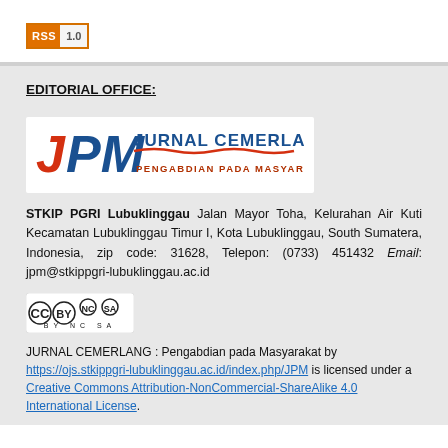[Figure (logo): RSS 1.0 badge/button in orange and grey]
EDITORIAL OFFICE:
[Figure (logo): JPM Jurnal Cemerlang - Pengabdian Pada Masyarakat logo with red J, blue PM and subtitle]
STKIP PGRI Lubuklinggau Jalan Mayor Toha, Kelurahan Air Kuti Kecamatan Lubuklinggau Timur I, Kota Lubuklinggau, South Sumatera, Indonesia, zip code: 31628, Telepon: (0733) 451432 Email: jpm@stkippgri-lubuklinggau.ac.id
[Figure (logo): Creative Commons BY-NC-SA license badge]
JURNAL CEMERLANG : Pengabdian pada Masyarakat by https://ojs.stkippgri-lubuklinggau.ac.id/index.php/JPM is licensed under a Creative Commons Attribution-NonCommercial-ShareAlike 4.0 International License.